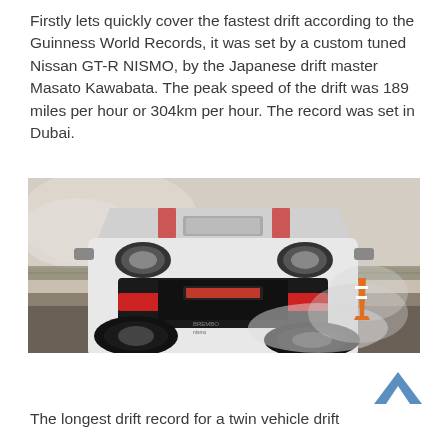Firstly lets quickly cover the fastest drift according to the Guinness World Records, it was set by a custom tuned Nissan GT-R NISMO, by the Japanese drift master Masato Kawabata. The peak speed of the drift was 189 miles per hour or 304km per hour. The record was set in Dubai.
[Figure (photo): A white Nissan GT-R NISMO with red accents drifting on a runway, smoke visible behind the rear tires, an orange traffic cone visible in the background, arid landscape with trees in distance.]
[Figure (other): Blue upward-pointing chevron/caret arrow icon for scrolling to top.]
The longest drift record for a twin vehicle drift